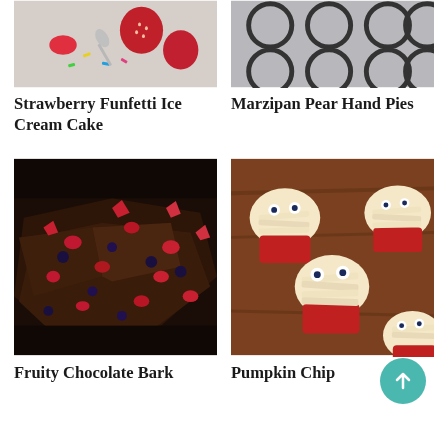[Figure (photo): Strawberry Funfetti Ice Cream Cake - strawberries, sprinkles, spoon on light background]
[Figure (photo): Marzipan Pear Hand Pies - muffin tin with dark circular rings]
Strawberry Funfetti Ice Cream Cake
Marzipan Pear Hand Pies
[Figure (photo): Fruity Chocolate Bark - dark chocolate bark topped with dried raspberries, strawberries, and blueberries]
[Figure (photo): Pumpkin Chip cupcakes - mummy-decorated cupcakes with cream cheese frosting strips and candy eyes in red cupcake liners]
Fruity Chocolate Bark
Pumpkin Chip